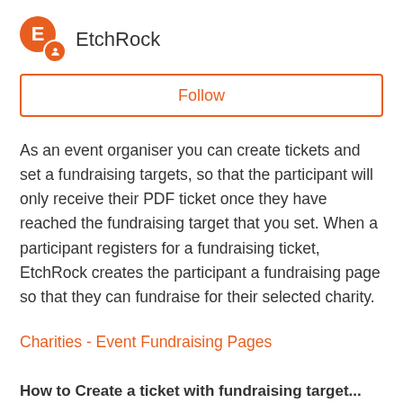EtchRock
Follow
As an event organiser you can create tickets and set a fundraising targets, so that the participant will only receive their PDF ticket once they have reached the fundraising target that you set. When a participant registers for a fundraising ticket, EtchRock creates the participant a fundraising page so that they can fundraise for their selected charity.
Charities - Event Fundraising Pages
How to Create a ticket with fundraising target...